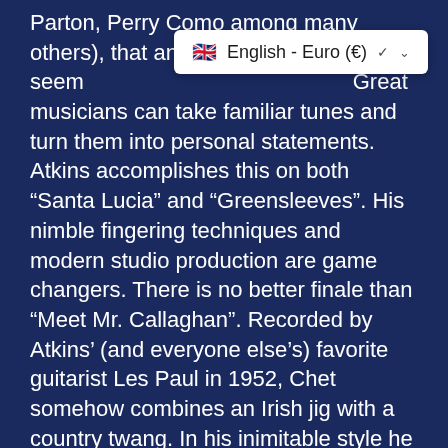Parton, Perry Como among many others), that an instrumental seem... Great musicians can take familiar tunes and turn them into personal statements. Atkins accomplishes this on both “Santa Lucia” and “Greensleeves”. His nimble fingering techniques and modern studio production are game changers. There is no better finale than “Meet Mr. Callaghan”. Recorded by Atkins’ (and everyone else’s) favorite guitarist Les Paul in 1952, Chet somehow combines an Irish jig with a country twang. In his inimitable style he infuses the chorus with jazzy notation.
[Figure (screenshot): Language/currency dropdown button showing English - Euro (€) with UK flag and chevron, white background]
Chet Atkins In Hollywood still has considerable artistic integrity. The audacity of combining the premier country guitarist with strings in